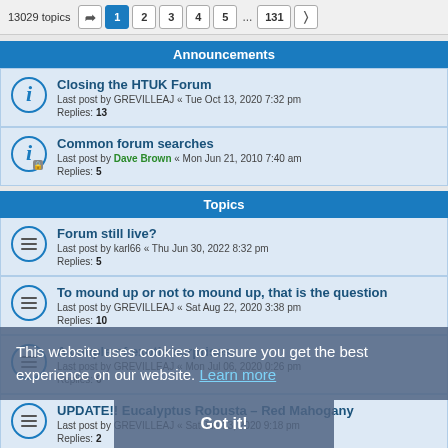13029 topics  1 2 3 4 5 ... 131
Announcements
Closing the HTUK Forum
Last post by GREVILLEAJ « Tue Oct 13, 2020 7:32 pm
Replies: 13
Common forum searches
Last post by Dave Brown « Mon Jun 21, 2010 7:40 am
Replies: 5
Topics
Forum still live?
Last post by karl66 « Thu Jun 30, 2022 8:32 pm
Replies: 5
To mound up or not to mound up, that is the question
Last post by GREVILLEAJ « Sat Aug 22, 2020 3:38 pm
Replies: 10
A couple of exotic surprises.
Last post by GREVILLEAJ « Mon Jul 06, 2020 0:26 pm
Replies: 6
UPDATE!! Eucalyptus Robusta - Red Mahogany
Last post by GREVILLEAJ « Sat Jun 13, 2020 9:18 pm
Replies: 2
Irrigation systems
Last post by TheHiphopfarmer « Fri May 29, 2020 8:38 am
Replies: 2
This website uses cookies to ensure you get the best experience on our website. Learn more
Got it!